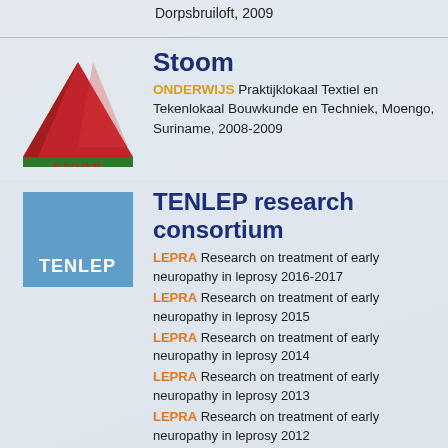Dorpsbruiloft, 2009
Stoom
ONDERWIJS Praktijklokaal Textiel en Tekenlokaal Bouwkunde en Techniek, Moengo, Suriname, 2008-2009
[Figure (logo): STOOM logo: red triangle with green base and 'STOOM' text]
TENLEP research consortium
[Figure (logo): TENLEP logo: blue rectangle with white 'TENLEP' text]
LEPRA Research on treatment of early neuropathy in leprosy 2016-2017
LEPRA Research on treatment of early neuropathy in leprosy 2015
LEPRA Research on treatment of early neuropathy in leprosy 2014
LEPRA Research on treatment of early neuropathy in leprosy 2013
LEPRA Research on treatment of early neuropathy in leprosy 2012
LEPRA Research on treatment of early neuropathy in leprosy 2011
LEPRA Research on treatment of early neuropathy in leprosy 2010